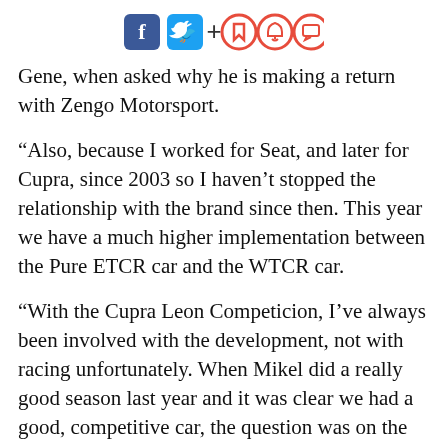[Figure (other): Social media and action icons row: Facebook (blue rounded square), Twitter (blue rounded square), plus sign, and three red outline circle icons (bookmark, bell, comment)]
Gene, when asked why he is making a return with Zengo Motorsport.
“Also, because I worked for Seat, and later for Cupra, since 2003 so I haven’t stopped the relationship with the brand since then. This year we have a much higher implementation between the Pure ETCR car and the WTCR car.
“With the Cupra Leon Competicion, I’ve always been involved with the development, not with racing unfortunately. When Mikel did a really good season last year and it was clear we had a good, competitive car, the question was on the table: why not go back to racing, try to help the brand, try to help Mikel and try to help myself to see if I can still be competitive with a front wheel drive touring car.